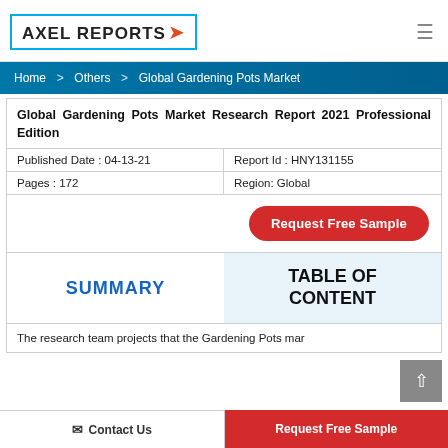AXEL REPORTS
Home > Others > Global Gardening Pots Market
Global Gardening Pots Market Research Report 2021 Professional Edition
| Published Date : 04-13-21 | Report Id : HNY131155 |
| --- | --- |
| Pages : 172 | Region: Global |
Request Free Sample
SUMMARY
TABLE OF CONTENT
The research team projects that the Gardening Pots mar
Contact Us
Request Free Sample